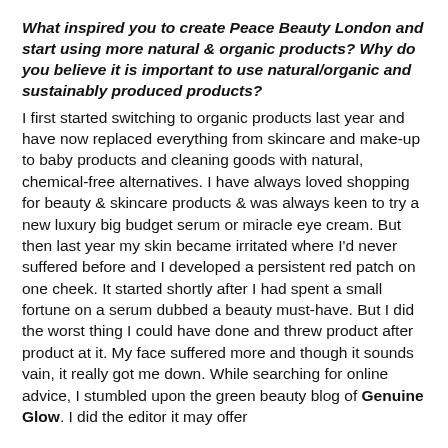What inspired you to create Peace Beauty London and start using more natural & organic products? Why do you believe it is important to use natural/organic and sustainably produced products?
I first started switching to organic products last year and have now replaced everything from skincare and make-up to baby products and cleaning goods with natural, chemical-free alternatives. I have always loved shopping for beauty & skincare products & was always keen to try a new luxury big budget serum or miracle eye cream. But then last year my skin became irritated where I'd never suffered before and I developed a persistent red patch on one cheek. It started shortly after I had spent a small fortune on a serum dubbed a beauty must-have. But I did the worst thing I could have done and threw product after product at it. My face suffered more and though it sounds vain, it really got me down. While searching for online advice, I stumbled upon the green beauty blog of Genuine Glow. I did the editor it may offer